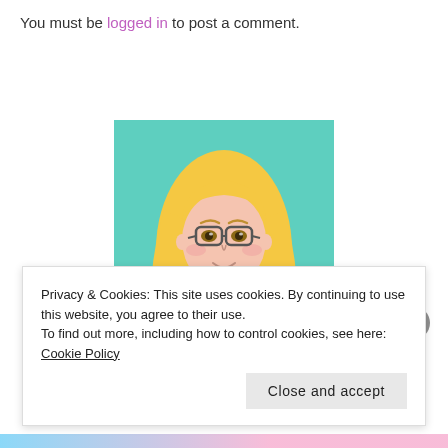You must be logged in to post a comment.
[Figure (illustration): Cartoon illustration of a young woman with long blonde hair, glasses, pink/purple turtleneck sweater, on a teal/mint background]
Privacy & Cookies: This site uses cookies. By continuing to use this website, you agree to their use.
To find out more, including how to control cookies, see here: Cookie Policy
Close and accept